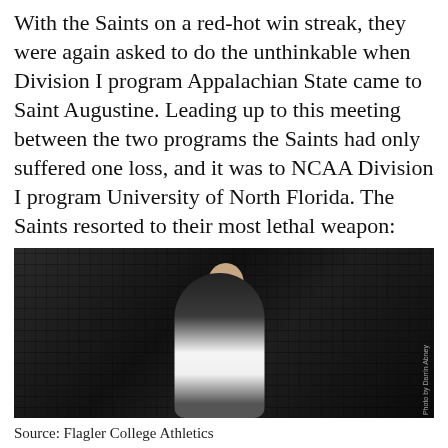With the Saints on a red-hot win streak, they were again asked to do the unthinkable when Division I program Appalachian State came to Saint Augustine. Leading up to this meeting between the two programs the Saints had only suffered one loss, and it was to NCAA Division I program University of North Florida. The Saints resorted to their most lethal weapon: doubles.
[Figure (photo): A female tennis player in a black long-sleeve shirt and white skirt holding a tennis racket with a ball, standing in front of a dark net background. Photo by Darrin Abney.]
Source: Flagler College Athletics